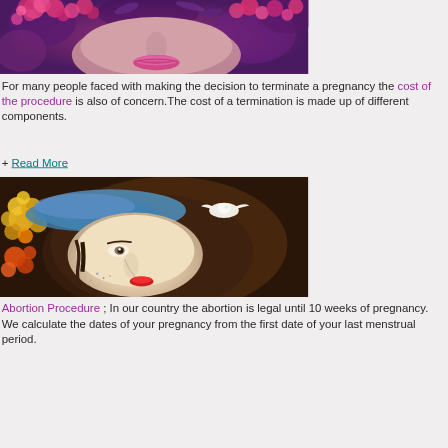[Figure (illustration): Artistic illustration of a woman's face partially covered by pink/magenta roses and purple floral elements, with pink lips visible]
For many people faced with making the decision to terminate a pregnancy the cost of the procedure is also of concern. The cost of a termination is made up of different components.
+ Read More
[Figure (illustration): Artistic painting of a woman's face lying down with orange and yellow flowers, a white dove, and colorful decorative elements in a folk art style]
Abortion Procedure ; In our country the abortion is legal until 10 weeks of pregnancy. We calculate the dates of your pregnancy from the first date of your last menstrual period.